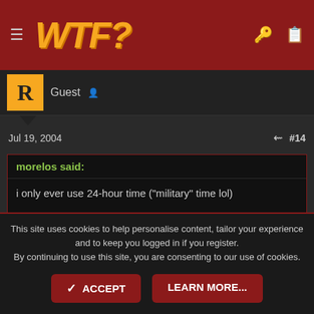WTF?
Guest
Jul 19, 2004  #14
morelos said:
i only ever use 24-hour time ("military" time lol)

~ dan ~
O, you mean not using the AM/PM thing?
That's typical for England.
This site uses cookies to help personalise content, tailor your experience and to keep you logged in if you register.
By continuing to use this site, you are consenting to our use of cookies.